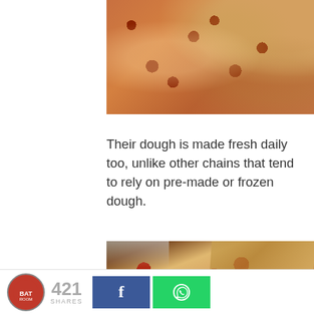[Figure (photo): Close-up photo of a pizza with pepperoni, cheese, walnuts and toppings, partially cropped at top]
Their dough is made fresh daily too, unlike other chains that tend to rely on pre-made or frozen dough.
[Figure (photo): Photo of a pepperoni pizza in a pizza box, with a hand lifting a slice]
421 SHARES | Facebook share button | WhatsApp share button